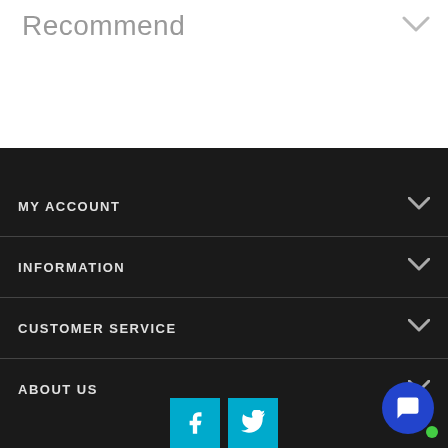Recommend
MY ACCOUNT
INFORMATION
CUSTOMER SERVICE
ABOUT US
[Figure (illustration): Social media buttons: Facebook and Twitter icons in teal/cyan color at the bottom of the page, with a blue circular chat bubble and green online indicator dot in the bottom right corner]